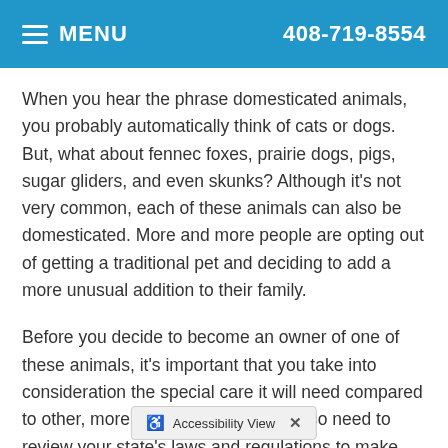MENU  408-719-8554
When you hear the phrase domesticated animals, you probably automatically think of cats or dogs. But, what about fennec foxes, prairie dogs, pigs, sugar gliders, and even skunks? Although it's not very common, each of these animals can also be domesticated. More and more people are opting out of getting a traditional pet and deciding to add a more unusual addition to their family.
Before you decide to become an owner of one of these animals, it's important that you take into consideration the special care it will need compared to other, more typical pets. You will also need to review your state's laws and regulations to make sure that it is legal to own one of these animals.